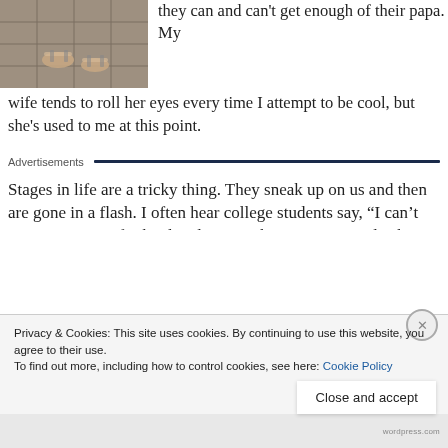[Figure (photo): Photo showing feet/sandals on a tiled floor, partially cropped at top]
they can and can't get enough of their papa. My wife tends to roll her eyes every time I attempt to be cool, but she's used to me at this point.
Advertisements
Stages in life are a tricky thing. They sneak up on us and then are gone in a flash. I often hear college students say, “I can’t wait to get out of school and start making money.” I also hear some young
Privacy & Cookies: This site uses cookies. By continuing to use this website, you agree to their use.
To find out more, including how to control cookies, see here: Cookie Policy
Close and accept